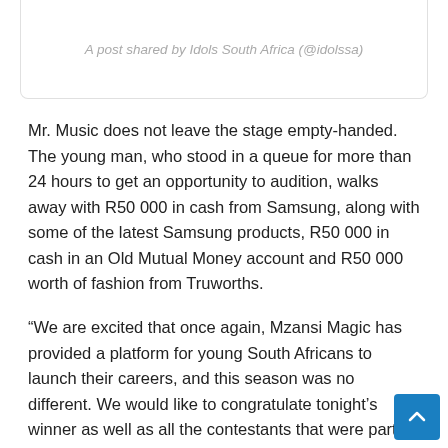A post shared by Idols South Africa (@idolssa)
Mr. Music does not leave the stage empty-handed. The young man, who stood in a queue for more than 24 hours to get an opportunity to audition, walks away with R50 000 in cash from Samsung, along with some of the latest Samsung products, R50 000 in cash in an Old Mutual Money account and R50 000 worth of fashion from Truworths.
“We are excited that once again, Mzansi Magic has provided a platform for young South Africans to launch their careers, and this season was no different. We would like to congratulate tonight’s winner as well as all the contestants that were part of this season. As the competition continues to open up the industry, we would like to also express our gratitude to our valued sponsors for all the amazing prizes that our winner will get, as well as thank all our viewers for taking time to vote. Nomsa Philiso, Director of Local Entertainment Channels at M-